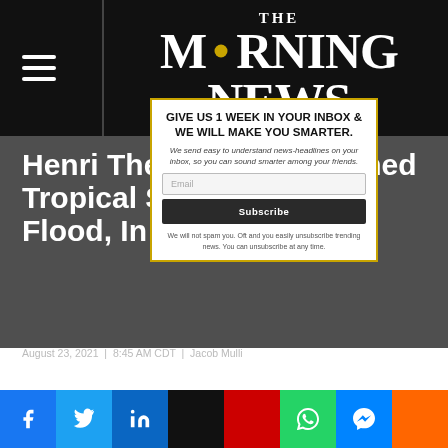THE MORNING NEWS
Henri The Hurricane Turned Tropical Storm Causing Flood, In Eastern Coast.
August 23, 2021 | 8:45 AM CDT | Jacob Mulli
[Figure (infographic): Popup newsletter subscription box with text: GIVE US 1 WEEK IN YOUR INBOX & WE WILL MAKE YOU SMARTER. We send easy to understand news-headlines on your inbox, so you can sound smarter among your friends. Email field. Subscribe button.]
[Figure (infographic): Social media share bar with Facebook, Twitter, LinkedIn, black, YouTube/red, WhatsApp, Messenger, and orange share buttons]